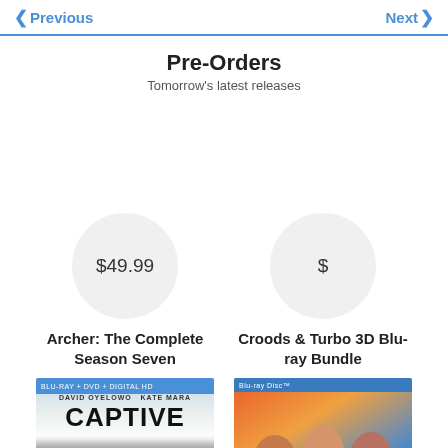< Previous    Next >
Pre-Orders
Tomorrow's latest releases
$49.99
Archer: The Complete Season Seven
$
Croods & Turbo 3D Blu-ray Bundle
[Figure (photo): CAPTIVE movie Blu-ray cover with blue header bar, actor names DAVID OYELOWO KATE MARA, bold CAPTIVE title, silhouette figure below]
[Figure (photo): Croods & Turbo 3D Blu-ray Bundle cover with Blu-ray Disc logo at top, three smiling faces on colorful background]